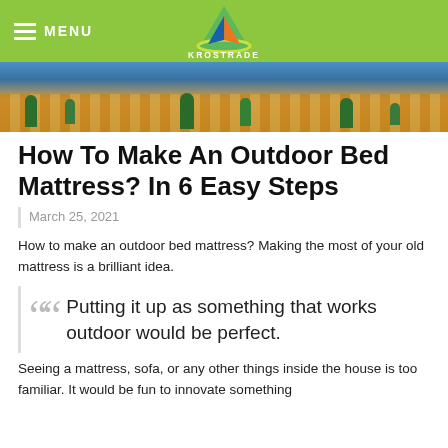MENU | KROSTRADE
[Figure (photo): Hero image of an outdoor patio area with plants, wooden decking, and blue accents]
How To Make An Outdoor Bed Mattress? In 6 Easy Steps
March 25, 2021
How to make an outdoor bed mattress? Making the most of your old mattress is a brilliant idea.
Putting it up as something that works outdoor would be perfect.
Seeing a mattress, sofa, or any other things inside the house is too familiar. It would be fun to innovate something